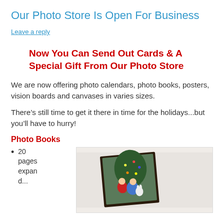Our Photo Store Is Open For Business
Leave a reply
Now You Can Send Out Cards & A Special Gift From Our Photo Store
We are now offering photo calendars, photo books, posters, vision boards and canvases in varies sizes.
There’s still time to get it there in time for the holidays...but you’ll have to hurry!
Photo Books
20 pages expan...
[Figure (photo): Photo book with a Christmas family photo showing two children in front of a decorated Christmas tree]